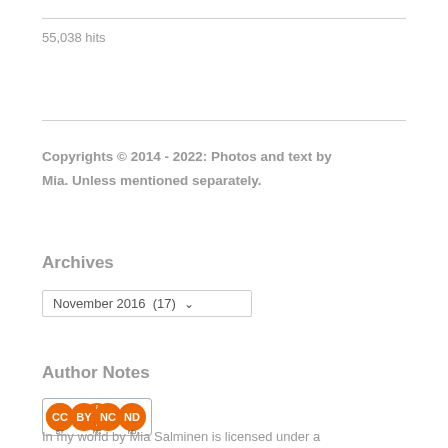55,038 hits
Copyrights © 2014 - 2022: Photos and text by Mia. Unless mentioned separately.
Archives
November 2016  (17)
Author Notes
[Figure (logo): Creative Commons license badge: CC BY NC ND]
In my world by Mia Salminen is licensed under a